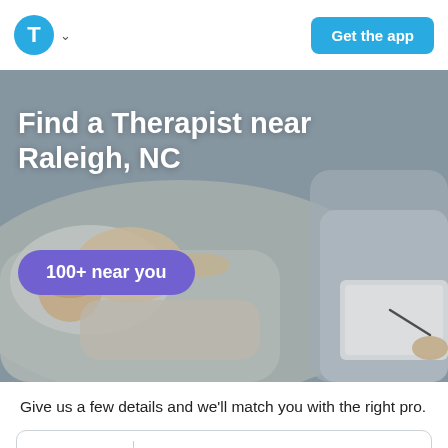T (logo) | Get the app
[Figure (photo): Photo of a patient lying on a couch and a therapist taking notes on a notepad, representing therapy session.]
Find a Therapist near Raleigh, NC
100+ near you
Give us a few details and we'll match you with the right pro.
Zip code  27601